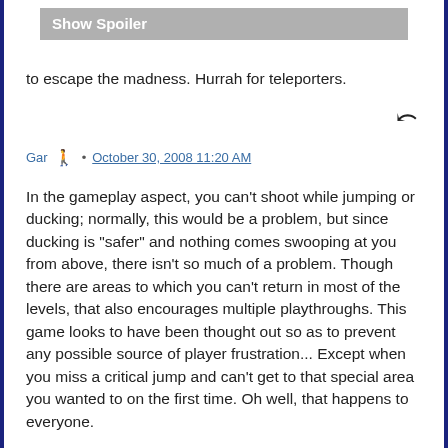Show Spoiler
to escape the madness. Hurrah for teleporters.
Gar · October 30, 2008 11:20 AM
In the gameplay aspect, you can't shoot while jumping or ducking; normally, this would be a problem, but since ducking is "safer" and nothing comes swooping at you from above, there isn't so much of a problem. Though there are areas to which you can't return in most of the levels, that also encourages multiple playthroughs. This game looks to have been thought out so as to prevent any possible source of player frustration... Except when you miss a critical jump and can't get to that special area you wanted to on the first time. Oh well, that happens to everyone.